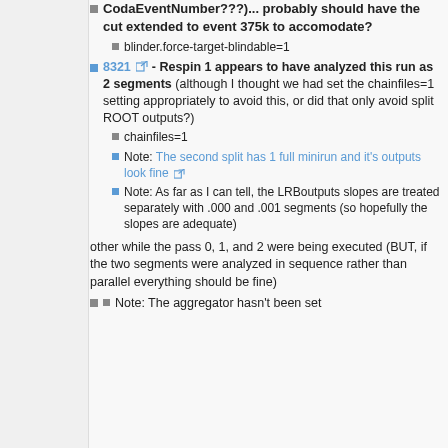CodaEventNumber???)... probably should have the cut extended to event 375k to accomodate?
blinder.force-target-blindable=1
8321 - Respin 1 appears to have analyzed this run as 2 segments (although I thought we had set the chainfiles=1 setting appropriately to avoid this, or did that only avoid split ROOT outputs?)
chainfiles=1
Note: The second split has 1 full minirun and it's outputs look fine
Note: As far as I can tell, the LRBoutputs slopes are treated separately with .000 and .001 segments (so hopefully the slopes are adequate)
other while the pass 0, 1, and 2 were being executed (BUT, if the two segments were analyzed in sequence rather than parallel everything should be fine)
Note: The aggregator hasn't been set